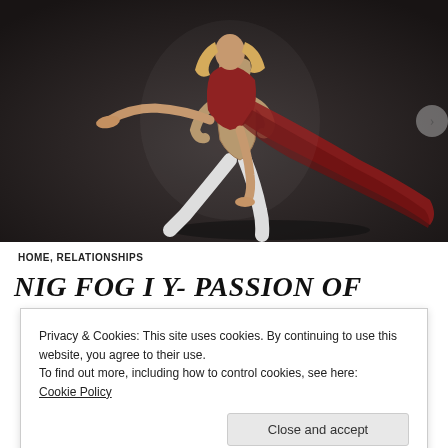[Figure (photo): Two ballet dancers on a dark background. A male dancer in white tights holds a female dancer in a red dress/costume. The female dancer is lifted, with one leg extended backward and red fabric flowing behind her.]
HOME, RELATIONSHIPS
NIG FOG I Y- PASSION OF
Privacy & Cookies: This site uses cookies. By continuing to use this website, you agree to their use.
To find out more, including how to control cookies, see here:
Cookie Policy
Close and accept